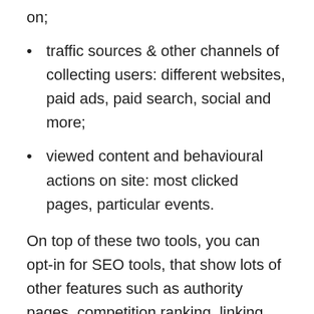on;
traffic sources & other channels of collecting users: different websites, paid ads, paid search, social and more;
viewed content and behavioural actions on site: most clicked pages, particular events.
On top of these two tools, you can opt-in for SEO tools, that show lots of other features such as authority pages, competition ranking, linking situation, on-site errors, duplicate content, slow page speed, content marketing gaps, lack of mobile-friendliness and so much more. Mobile traffic has experienced high growth in the last years. You shouldn't forget about the mobile traffic if you want to grow your business.